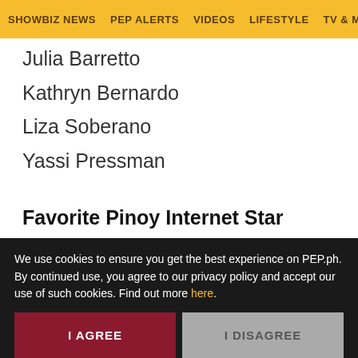SHOWBIZ NEWS | PEP ALERTS | VIDEOS | LIFESTYLE | TV & MOV...
Julia Barretto
Kathryn Bernardo
Liza Soberano
Yassi Pressman
Favorite Pinoy Internet Star
Ella Cruz
Hannah Pangilinan
Kristel Fulgar
Ranz Kyle & Niana
Read on App
We use cookies to ensure you get the best experience on PEP.ph. By continued use, you agree to our privacy policy and accept our use of such cookies. Find out more here.
I AGREE
I DISAGREE